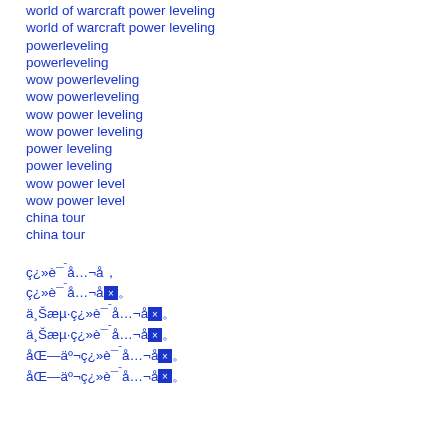world of warcraft power leveling
world of warcraft power leveling
powerleveling
powerleveling
wow powerleveling
wow powerleveling
wow power leveling
wow power leveling
power leveling
power leveling
wow power level
wow power level
china tour
china tour
ç¿»è¯ˉå…¬å×¸
ç¿»è¯ˉå…¬å×¸
ä¸Šæµ·ç¿»è¯ˉå…¬å×¸
ä¸Šæµ·ç¿»è¯ˉå…¬å×¸
åŒ—äº¬ç¿»è¯ˉå…¬å×¸
åŒ—äº¬ç¿»è¯ˉå…¬å×¸